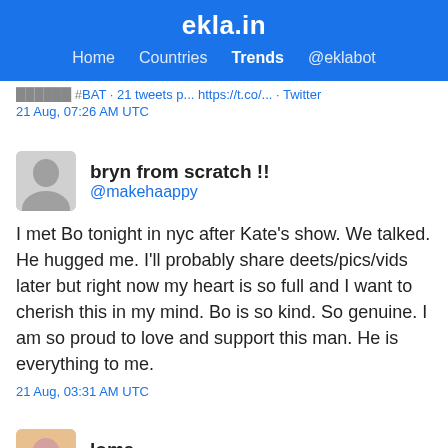ekla.in — Home Countries Trends @eklabot
21 Aug, 07:26 AM UTC
bryn from scratch !!
@makehaappy
I met Bo tonight in nyc after Kate’s show. We talked. He hugged me. I’ll probably share deets/pics/vids later but right now my heart is so full and I want to cherish this in my mind. Bo is so kind. So genuine. I am so proud to love and support this man. He is everything to me.
21 Aug, 03:31 AM UTC
loma
@nplomem